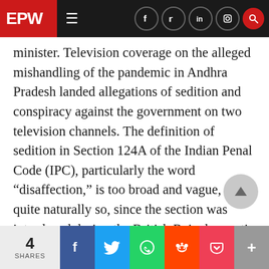EPW
minister. Television coverage on the alleged mishandling of the pandemic in Andhra Pradesh landed allegations of sedition and conspiracy against the government on two television channels. The definition of sedition in Section 124A of the Indian Penal Code (IPC), particularly the word “disaffection,” is too broad and vague, and quite naturally so, since the section was introduced during the British Raj when anti-colonial or anti-imperialist writings and speeches were not tolerated. It can be given any nuance to suit the government of the day. It appears, however, that the law was invoked mainly aga
4 SHARES | Facebook | Twitter | WhatsApp | Reddit | Pocket | More